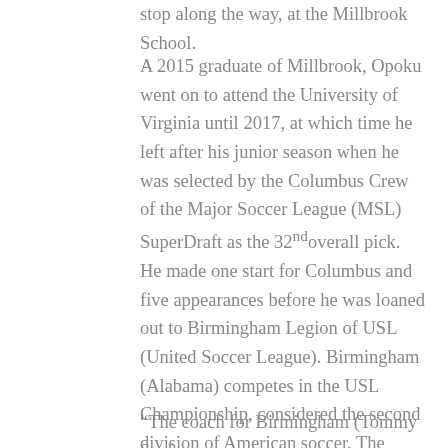stop along the way, at the Millbrook School.
A 2015 graduate of Millbrook, Opoku went on to attend the University of Virginia until 2017, at which time he left after his junior season when he was selected by the Columbus Crew of the Major Soccer League (MSL) SuperDraft as the 32nd overall pick. He made one start for Columbus and five appearances before he was loaned out to Birmingham Legion of USL (United Soccer League). Birmingham (Alabama) competes in the USL Championship, considered the second division of American soccer. The MSL is considered the elite professional soccer league in the United States.
“The coach for Birmingham (Tommy Soehn,